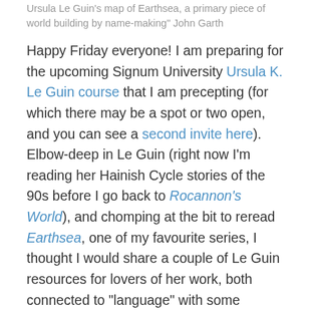Ursula Le Guin's map of Earthsea, a primary piece of world building by name-making" John Garth
Happy Friday everyone! I am preparing for the upcoming Signum University Ursula K. Le Guin course that I am precepting (for which there may be a spot or two open, and you can see a second invite here). Elbow-deep in Le Guin (right now I'm reading her Hainish Cycle stories of the 90s before I go back to Rocannon's World), and chomping at the bit to reread Earthsea, one of my favourite series, I thought I would share a couple of Le Guin resources for lovers of her work, both connected to “language” with some connections back to Tolkien–but in strikingly different ways.
I hope you know about the Mythlore special issue on Le Guin, just published this summer (2021). Among the great articles, Prof. Kris Swank (of the Le Guin worldbuilder